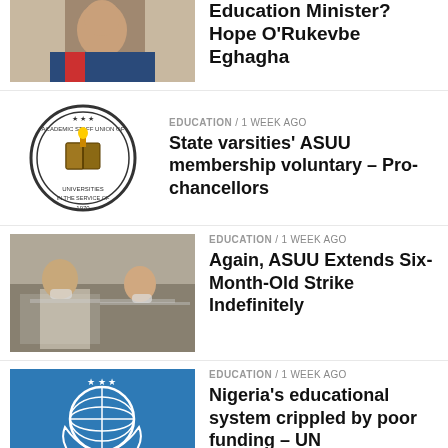[Figure (photo): Man in suit, partial crop at top]
...? Education Minister? Hope O'Rukevbe Eghagha
[Figure (logo): Academic Staff Union of Universities circular seal logo]
EDUCATION / 1 week ago
State varsities' ASUU membership voluntary – Pro-chancellors
[Figure (photo): Meeting scene with people at tables, masks worn]
EDUCATION / 1 week ago
Again, ASUU Extends Six-Month-Old Strike Indefinitely
[Figure (logo): United Nations logo on blue background]
EDUCATION / 1 week ago
Nigeria's educational system crippled by poor funding – UN
[Figure (photo): Person at meeting table, partial view]
EDUCATION / 2 weeks ago
ASUU rejects N10,000 varsity support levy by parents
[Figure (photo): Partial photo at bottom, partially cut off]
EDUCATION / ...